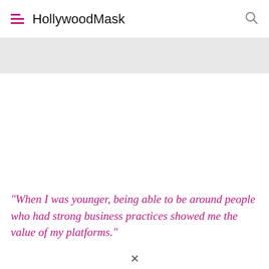HollywoodMask
"When I was younger, being able to be around people who had strong business practices showed me the value of my platforms."